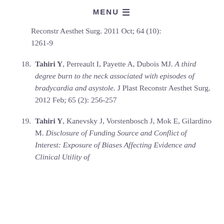MENU ☰
Reconstr Aesthet Surg. 2011 Oct; 64 (10): 1261-9
18. Tahiri Y, Perreault I, Payette A, Dubois MJ. A third degree burn to the neck associated with episodes of bradycardia and asystole. J Plast Reconstr Aesthet Surg. 2012 Feb; 65 (2): 256-257
19. Tahiri Y, Kanevsky J, Vorstenbosch J, Mok E, Gilardino M. Disclosure of Funding Source and Conflict of Interest: Exposure of Biases Affecting Evidence and Clinical Utility of